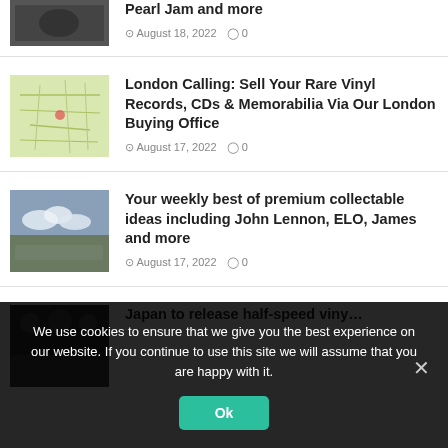[Figure (photo): Partial top article thumbnail image (music/texture)]
Pearl Jam and more
August 18, 2022   0
[Figure (photo): Map thumbnail image of London]
London Calling: Sell Your Rare Vinyl Records, CDs & Memorabilia Via Our London Buying Office
August 17, 2022   0
[Figure (photo): Cloudy sky landscape photo thumbnail]
Your weekly best of premium collectable ideas including John Lennon, ELO, James and more
August 17, 2022   0
[Figure (photo): Dark thumbnail for partial article]
Japan to release half-speed vinyl remaster…
We use cookies to ensure that we give you the best experience on our website. If you continue to use this site we will assume that you are happy with it.
Ok